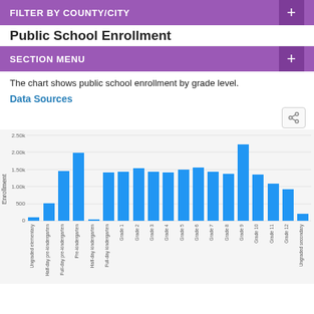FILTER BY COUNTY/CITY
Public School Enrollment
SECTION MENU
The chart shows public school enrollment by grade level.
Data Sources
[Figure (bar-chart): Public School Enrollment]